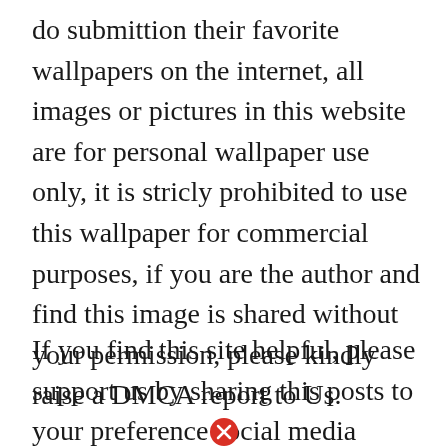do submittion their favorite wallpapers on the internet, all images or pictures in this website are for personal wallpaper use only, it is stricly prohibited to use this wallpaper for commercial purposes, if you are the author and find this image is shared without your permission, please kindly raise a DMCA report to Us.
If you find this site helpful, please support us by sharing this posts to your preference social media accounts like Facebook,